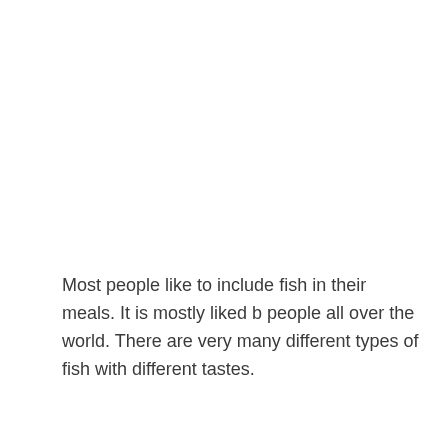Most people like to include fish in their meals. It is mostly liked b people all over the world. There are very many different types of fish with different tastes.